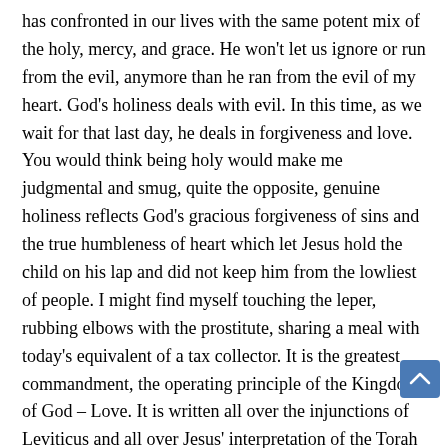has confronted in our lives with the same potent mix of the holy, mercy, and grace. He won't let us ignore or run from the evil, anymore than he ran from the evil of my heart. God's holiness deals with evil. In this time, as we wait for that last day, he deals in forgiveness and love. You would think being holy would make me judgmental and smug, quite the opposite, genuine holiness reflects God's gracious forgiveness of sins and the true humbleness of heart which let Jesus hold the child on his lap and did not keep him from the lowliest of people. I might find myself touching the leper, rubbing elbows with the prostitute, sharing a meal with today's equivalent of a tax collector. It is the greatest commandment, the operating principle of the Kingdom of God – Love. It is written all over the injunctions of Leviticus and all over Jesus' interpretation of the Torah for us. He 14

desires mercy, not sacrifice, love, not obedience. Frightening beautiful at the same time.